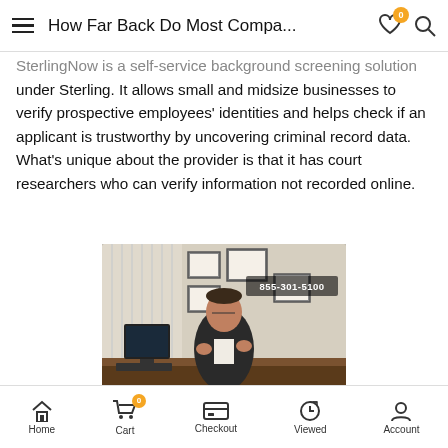How Far Back Do Most Compa...
SterlingNow is a self-service background screening solution under Sterling. It allows small and midsize businesses to verify prospective employees' identities and helps check if an applicant is trustworthy by uncovering criminal record data. What's unique about the provider is that it has court researchers who can verify information not recorded online.
[Figure (screenshot): Video thumbnail showing a man in a suit sitting at a desk in an office, with framed certificates on the wall behind him. A phone number 855-301-5100 is overlaid in the top right. A logo watermark appears in the bottom right corner.]
Home  Cart  Checkout  Viewed  Account